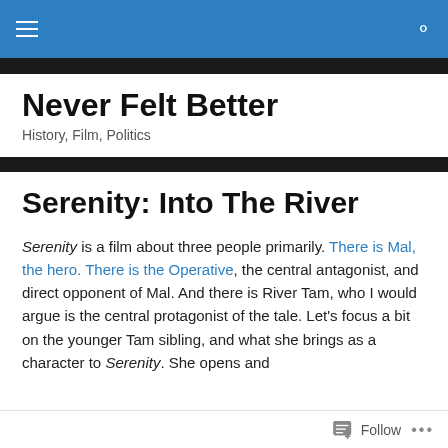Never Felt Better — History, Film, Politics
Never Felt Better
History, Film, Politics
Serenity: Into The River
Serenity is a film about three people primarily. There is Mal, the hero. There is the Operative, the central antagonist, and direct opponent of Mal. And there is River Tam, who I would argue is the central protagonist of the tale. Let's focus a bit on the younger Tam sibling, and what she brings as a character to Serenity. She opens and
Follow